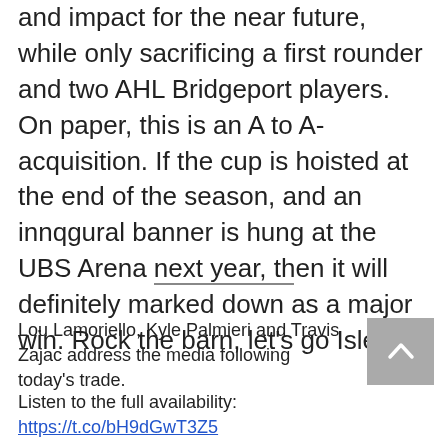and impact for the near future, while only sacrificing a first rounder and two AHL Bridgeport players. On paper, this is an A to A- acquisition. If the cup is hoisted at the end of the season, and an innqgural banner is hung at the UBS Arena next year, then it will definitely marked down as a major win. Rock the barn, let's go Isle.
Lou Lamoriello, Kyle Palmieri and Travis Zajac address the media following today's trade.
Listen to the full availability: https://t.co/bH9dGwT3Z5